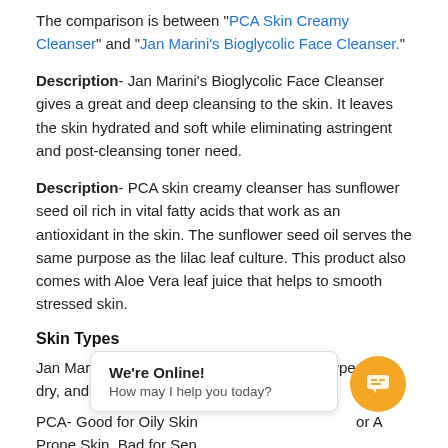The comparison is between "PCA Skin Creamy Cleanser" and "Jan Marini's Bioglycolic Face Cleanser."
Description- Jan Marini's Bioglycolic Face Cleanser gives a great and deep cleansing to the skin. It leaves the skin hydrated and soft while eliminating astringent and post-cleansing toner need.
Description- PCA skin creamy cleanser has sunflower seed oil rich in vital fatty acids that work as an antioxidant in the skin. The sunflower seed oil serves the same purpose as the lilac leaf culture. This product also comes with Aloe Vera leaf juice that helps to smooth stressed skin.
Skin Types
Jan Marini's Bioglycolic Face Cleanser skin type is oily, dry, and Normal/Combo.
PCA- Good for Oily Skin … for Ac Prone Skin, Bad for Sen…
Key Ingredients
[Figure (other): Live chat widget overlay showing 'We're Online! How may I help you today?' with an orange chat button]